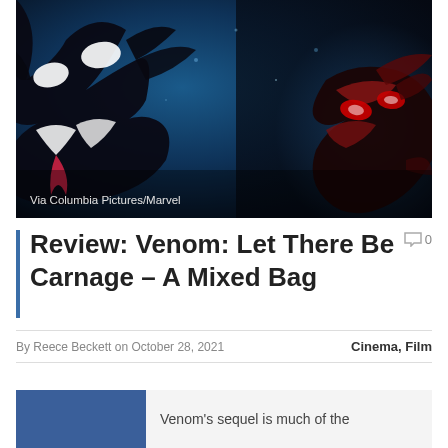[Figure (photo): Dark atmospheric promotional image from Venom: Let There Be Carnage showing two symbiote creatures - Venom (black) on the left and Carnage (red/dark) on the right, against a deep blue background]
Via Columbia Pictures/Marvel
Review: Venom: Let There Be Carnage – A Mixed Bag
0
By Reece Beckett on October 28, 2021
Cinema, Film
Venom's sequel is much of the